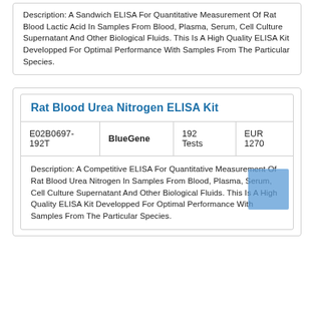Description: A Sandwich ELISA For Quantitative Measurement Of Rat Blood Lactic Acid In Samples From Blood, Plasma, Serum, Cell Culture Supernatant And Other Biological Fluids. This Is A High Quality ELISA Kit Developped For Optimal Performance With Samples From The Particular Species.
Rat Blood Urea Nitrogen ELISA Kit
|  | BlueGene | 192 Tests | EUR 1270 |
| --- | --- | --- | --- |
| E02B0697-192T | BlueGene | 192 Tests | EUR 1270 |
Description: A Competitive ELISA For Quantitative Measurement Of Rat Blood Urea Nitrogen In Samples From Blood, Plasma, Serum, Cell Culture Supernatant And Other Biological Fluids. This Is A High Quality ELISA Kit Developped For Optimal Performance With Samples From The Particular Species.